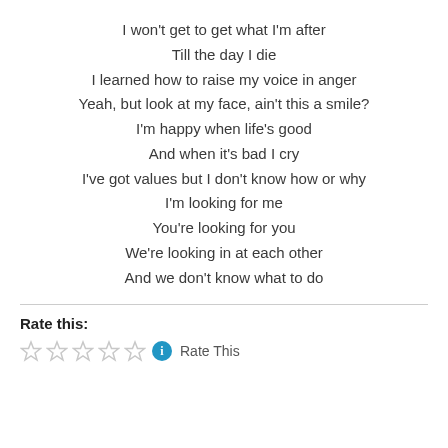I won't get to get what I'm after
Till the day I die

I learned how to raise my voice in anger
Yeah, but look at my face, ain't this a smile?
I'm happy when life's good
And when it's bad I cry
I've got values but I don't know how or why

I'm looking for me
You're looking for you
We're looking in at each other
And we don't know what to do
Rate this:
Rate This